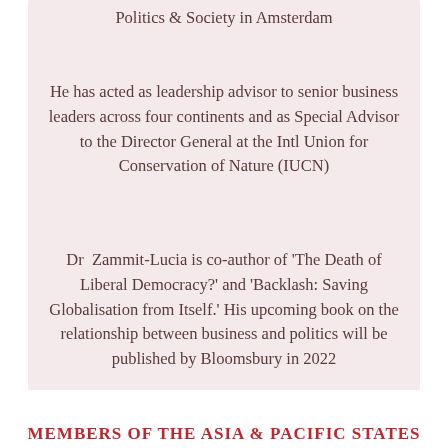London, and the Nijenrode Centre for Business, Politics & Society in Amsterdam
He has acted as leadership advisor to senior business leaders across four continents and as Special Advisor to the Director General at the Intl Union for Conservation of Nature (IUCN)
Dr Zammit-Lucia is co-author of 'The Death of Liberal Democracy?' and 'Backlash: Saving Globalisation from Itself.' His upcoming book on the relationship between business and politics will be published by Bloomsbury in 2022
MEMBERS OF THE ASIA & PACIFIC STATES